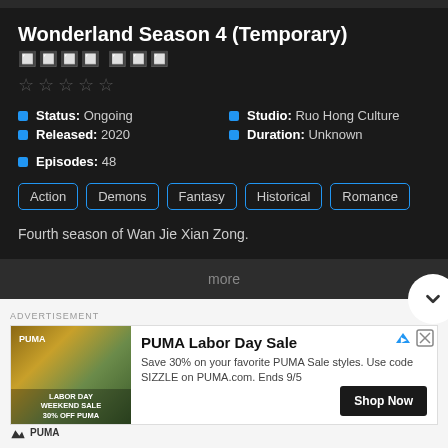Wonderland Season 4 (Temporary)
워너비 시즌 (subtitle characters)
Status: Ongoing  Studio: Ruo Hong Culture  Released: 2020  Duration: Unknown  Episodes: 48
Action
Demons
Fantasy
Historical
Romance
Fourth season of Wan Jie Xian Zong.
more
ADVERTISEMENT
PUMA Labor Day Sale
Save 30% on your favorite PUMA Sale styles. Use code SIZZLE on PUMA.com. Ends 9/5
Shop Now
PUMA